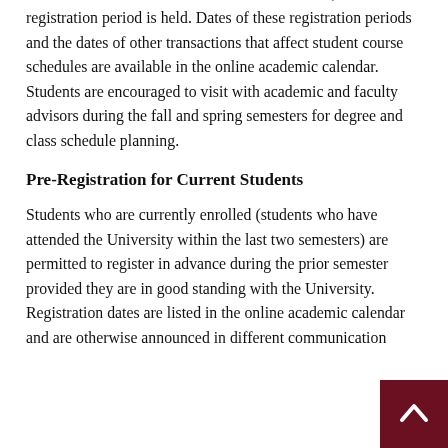academic semester and for each summer session, a registration period is held. Dates of these registration periods and the dates of other transactions that affect student course schedules are available in the online academic calendar. Students are encouraged to visit with academic and faculty advisors during the fall and spring semesters for degree and class schedule planning.
Pre-Registration for Current Students
Students who are currently enrolled (students who have attended the University within the last two semesters) are permitted to register in advance during the prior semester provided they are in good standing with the University. Registration dates are listed in the online academic calendar and are otherwise announced in different communication